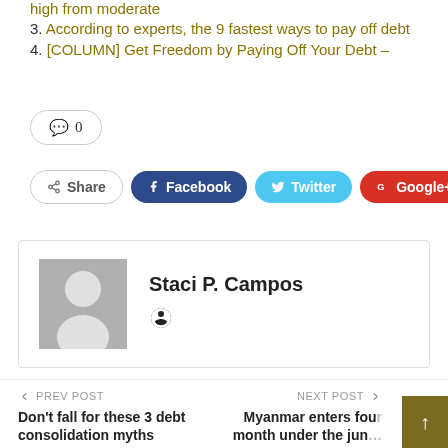high from moderate
3. According to experts, the 9 fastest ways to pay off debt
4. [COLUMN] Get Freedom by Paying Off Your Debt –
💬 0
Share  Facebook  Twitter  Google+  +
Staci P. Campos
PREV POST
Don't fall for these 3 debt consolidation myths
NEXT POST
Myanmar enters four month under the jun…